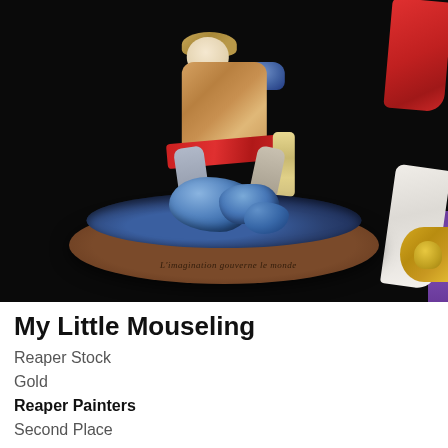[Figure (photo): Painted miniature figurine of 'My Little Mouseling' — a small anthropomorphic mouse warrior in colorful armor with red cape, blue shoulder plate, and white flowing cloth, posed dynamically on an oval brown base decorated with blue rocks and inscribed with script text. A gold medallion is partially visible at the right edge. Dark/black background.]
My Little Mouseling
Reaper Stock
Gold
Reaper Painters
Second Place